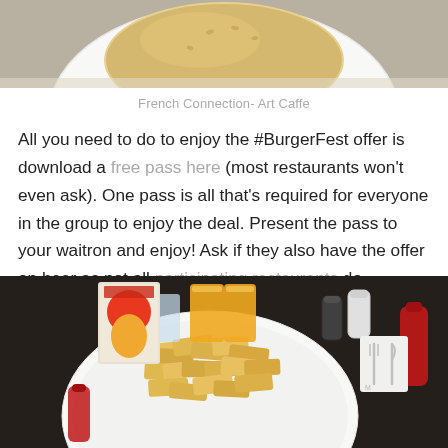[Figure (photo): Top portion of a food photo showing a burger bun on a white plate, cropped at the bottom of the frame]
French Connection- Art Caffe
All you need to do to enjoy the #BurgerFest offer is download a free pass here (most restaurants won't even ask). One pass is all that's required for everyone in the group to enjoy the deal. Present the pass to your waitron and enjoy! Ask if they also have the offer on beer as not all participating restaurants do.
[Figure (photo): Top-down photo of a restaurant table with a white plate of thick-cut chips/fries, glasses of orange juice, salt and pepper shakers, cutlery on a napkin, and a ketchup bottle on a dark table, with a Nairobi Burger Festival leaflet visible]